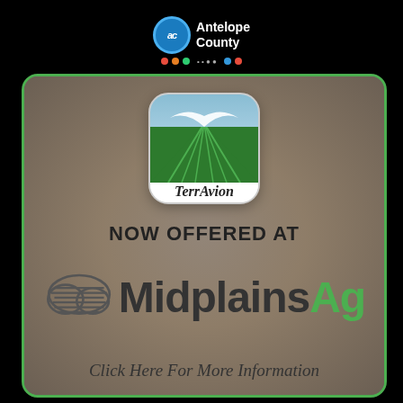[Figure (logo): Antelope County logo with 'ac' circle and text on black background]
[Figure (illustration): TerrAvion app icon showing green fields and blue sky, with text 'TerrAvion' below, displayed over aerial map background. Text 'NOW OFFERED AT' and MidplainsAg logo with cloud icon. Bottom text: 'Click Here For More Information']